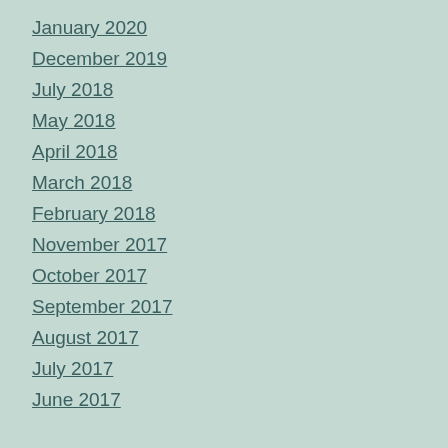January 2020
December 2019
July 2018
May 2018
April 2018
March 2018
February 2018
November 2017
October 2017
September 2017
August 2017
July 2017
June 2017